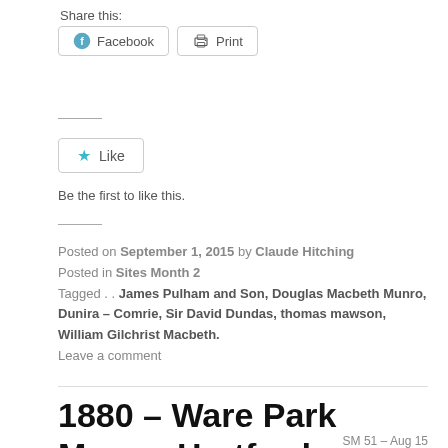Share this:
[Figure (screenshot): Social sharing buttons: Facebook and Print]
[Figure (screenshot): Like button widget with star icon]
Be the first to like this.
Posted on September 1, 2015 by Claude Hitching
Posted in Sites Month 2
Tagged . . James Pulham and Son, Douglas Macbeth Munro, Dunira – Comrie, Sir David Dundas, thomas mawson, William Gilchrist Macbeth.
Leave a comment
1880 – Ware Park Manor, Hertford, Hertfordshire
SM 51 – Aug 15